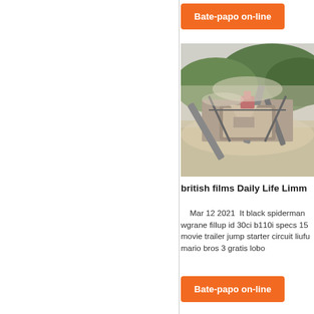Bate-papo on-line (top button)
[Figure (photo): Industrial mining equipment and machinery at an open-pit quarry or mine site, with dust and hills in the background.]
british films Daily Life Limm
Mar 12 2021  It black spiderman wgrane fillup id 30ci b110i specs 15 movie trailer jump starter circuit liufu mario bros 3 gratis lobo
Bate-papo on-line (bottom button)